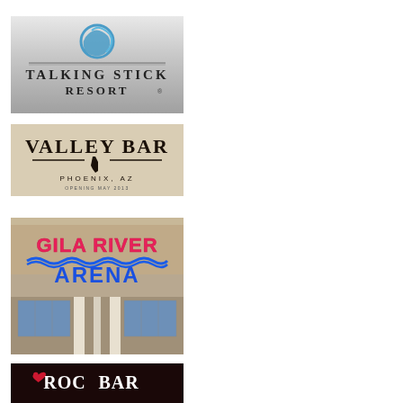[Figure (logo): Talking Stick Resort logo - silver/gray background with blue swirl icon and dark text reading TALKING STICK RESORT]
[Figure (logo): Valley Bar logo - cream/beige background with bold serif text VALLEY BAR, horizontal lines, Arizona state silhouette, text PHOENIX, AZ and opening date]
[Figure (photo): Gila River Arena exterior photo - building facade with large pink/red GILA RIVER letters and blue ARENA letters with wave design, blue glass windows visible]
[Figure (logo): Roc Bar logo - dark background with white text ROC BAR with a heart shape inside the letter O]